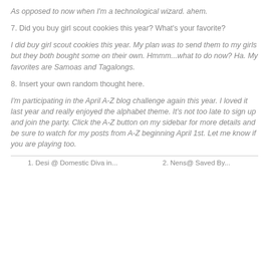As opposed to now when I'm a technological wizard. ahem.
7. Did you buy girl scout cookies this year? What's your favorite?
I did buy girl scout cookies this year. My plan was to send them to my girls but they both bought some on their own. Hmmm...what to do now? Ha. My favorites are Samoas and Tagalongs.
8. Insert your own random thought here.
I'm participating in the April A-Z blog challenge again this year. I loved it last year and really enjoyed the alphabet theme. It's not too late to sign up and join the party. Click the A-Z button on my sidebar for more details and be sure to watch for my posts from A-Z beginning April 1st. Let me know if you are playing too.
1. Desi @ Domestic Diva in...   2. Nens@ Saved By...